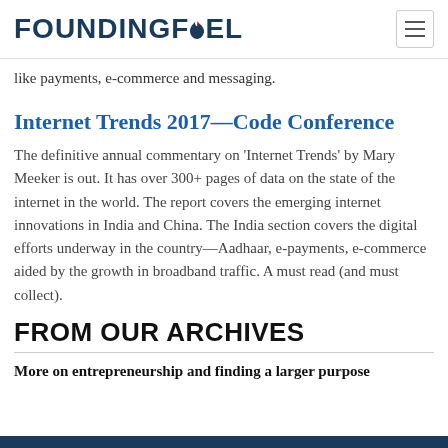FOUNDING FUEL
like payments, e-commerce and messaging.
Internet Trends 2017—Code Conference
The definitive annual commentary on 'Internet Trends' by Mary Meeker is out. It has over 300+ pages of data on the state of the internet in the world. The report covers the emerging internet innovations in India and China. The India section covers the digital efforts underway in the country—Aadhaar, e-payments, e-commerce aided by the growth in broadband traffic. A must read (and must collect).
FROM OUR ARCHIVES
More on entrepreneurship and finding a larger purpose